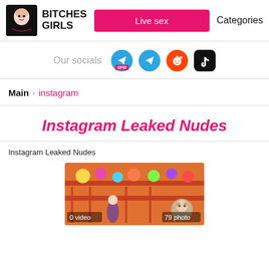BITCHES GIRLS | Live sex | Categories
Our socials
Main > instagram
Instagram Leaked Nudes
Instagram Leaked Nudes
[Figure (photo): Thumbnail image showing carnival/fair scene with stuffed animal prizes, overlaid with '0 video' and '79 photo' labels]